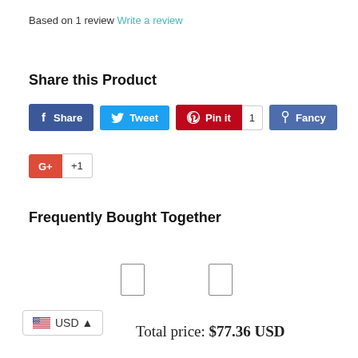Based on 1 review Write a review
Share this Product
[Figure (screenshot): Social share buttons: Facebook Share, Twitter Tweet, Pinterest Pin it (count: 1), Fancy, Google+1]
Frequently Bought Together
[Figure (other): Two small placeholder product image boxes with a separator between them]
USD (currency selector with US flag)
Total price: $77.36 USD